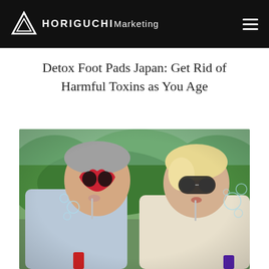HORIGUCHI Marketing
Detox Foot Pads Japan: Get Rid of Harmful Toxins as You Age
[Figure (photo): An older man with grey hair wearing red heart-shaped sunglasses and a woman with blonde hair wearing dark round sunglasses, both blowing bubbles outdoors near trees and a lake, dressed in light-colored shirts.]